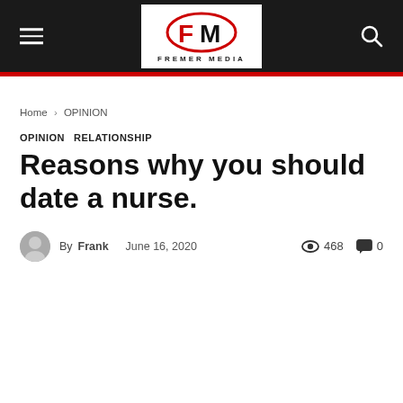[Figure (logo): Fremer Media logo with FM initials in red and black, with red swoosh, on white background in dark header bar]
Fremer Media — hamburger menu icon and search icon
Home › OPINION
OPINION  RELATIONSHIP
Reasons why you should date a nurse.
By Frank   June 16, 2020   468 views   0 comments